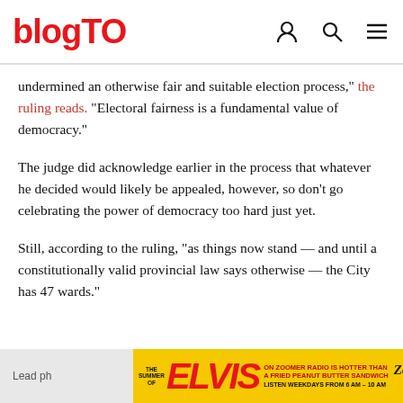blogTO
undermined an otherwise fair and suitable election process," the ruling reads. "Electoral fairness is a fundamental value of democracy."
The judge did acknowledge earlier in the process that whatever he decided would likely be appealed, however, so don't go celebrating the power of democracy too hard just yet.
Still, according to the ruling, "as things now stand — and until a constitutionally valid provincial law says otherwise — the City has 47 wards."
Lead ph...
[Figure (infographic): Advertisement banner for Elvis on Zoomer Radio. Yellow background with red Elvis text and radio station details.]